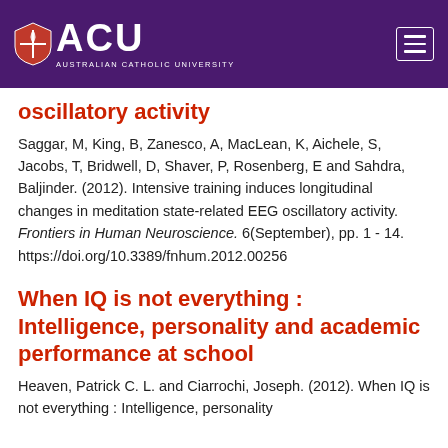ACU Australian Catholic University
oscillatory activity
Saggar, M, King, B, Zanesco, A, MacLean, K, Aichele, S, Jacobs, T, Bridwell, D, Shaver, P, Rosenberg, E and Sahdra, Baljinder. (2012). Intensive training induces longitudinal changes in meditation state-related EEG oscillatory activity. Frontiers in Human Neuroscience. 6(September), pp. 1 - 14. https://doi.org/10.3389/fnhum.2012.00256
When IQ is not everything : Intelligence, personality and academic performance at school
Heaven, Patrick C. L. and Ciarrochi, Joseph. (2012). When IQ is not everything : Intelligence, personality